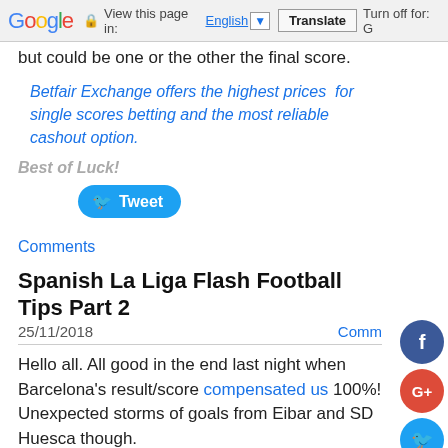Google  View this page in: English [▼]  Translate  Turn off for: G
but could be one or the other the final score.
Betfair Exchange offers the highest prices  for single scores betting and the most reliable cashout option.
Best of Luck!
[Figure (other): Tweet button (Twitter share button, blue rounded rectangle)]
Comments
Spanish La Liga Flash Football Tips Part 2
25/11/2018    Comm...
Hello all. All good in the end last night when Barcelona's result/score compensated us 100%! Unexpected storms of goals from Eibar and SD Huesca though.
Ath Bilbao - Getafe. Starts soon and I like the draw. 0-0
[Figure (other): Social media sharing buttons on right sidebar: Facebook (dark blue circle with f), Google+ (red circle with G+), Twitter (blue circle with bird), Pinterest (dark red circle with P), Tumblr (dark navy circle with t)]